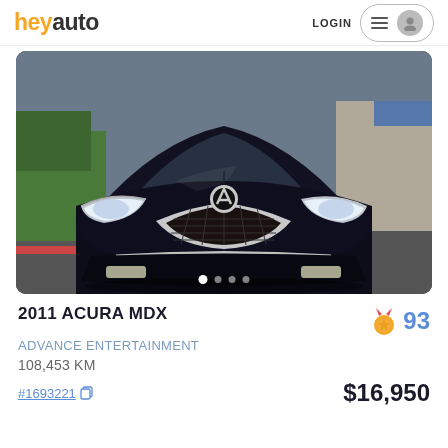heyauto — LOGIN
[Figure (photo): Front view of a black 2011 Acura MDX SUV parked in a parking lot. The car faces forward, showing its chrome grille, Acura logo, headlights, and front bumper. Green hedges and a building visible in the background.]
2011 ACURA MDX
ADVANCE ENTERTAINMENT
108,453 KM
#1693221
$16,950